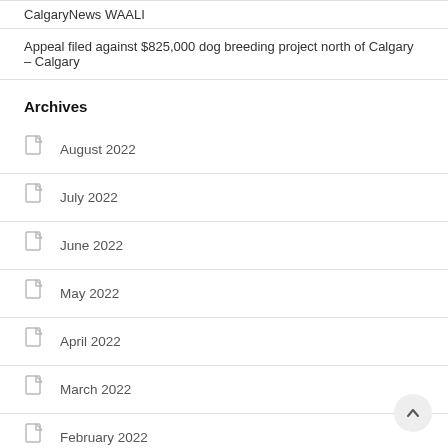CalgaryNews WAALI
Appeal filed against $825,000 dog breeding project north of Calgary – Calgary
Archives
August 2022
July 2022
June 2022
May 2022
April 2022
March 2022
February 2022
January 2022
December 2021